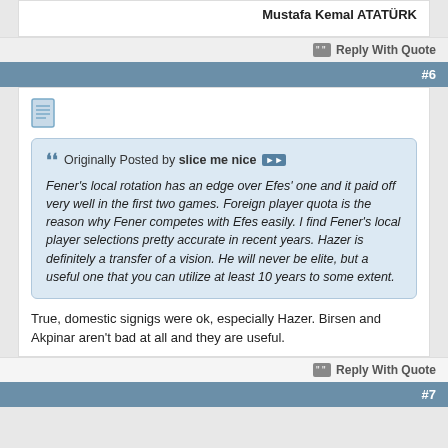Mustafa Kemal ATATÜRK
Reply With Quote
#6
Originally Posted by slice me nice
Fener's local rotation has an edge over Efes' one and it paid off very well in the first two games. Foreign player quota is the reason why Fener competes with Efes easily. I find Fener's local player selections pretty accurate in recent years. Hazer is definitely a transfer of a vision. He will never be elite, but a useful one that you can utilize at least 10 years to some extent.
True, domestic signigs were ok, especially Hazer. Birsen and Akpinar aren't bad at all and they are useful.
Reply With Quote
#7